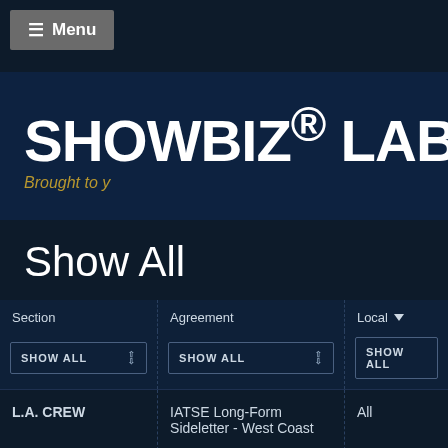≡ Menu
SHOWBIZ® LABO
Brought to y
Show All
| Section | Agreement | Local ▼ |
| --- | --- | --- |
| SHOW ALL | SHOW ALL | SHOW ALL |
| L.A. CREW | IATSE Long-Form Sideletter - West Coast | All |
| L.A. CREW | IATSE Long-Form Sideletter - West Coast | All |
| L.A. CREW | IATSE Long-Form Sideletter - West Coast | All |